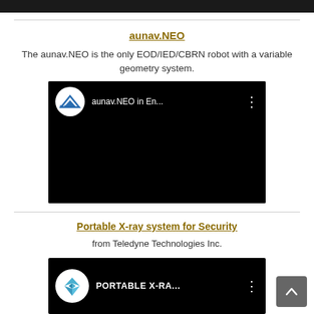[Figure (screenshot): Dark top image strip at the top of the page]
aunav.NEO
The aunav.NEO is the only EOD/IED/CBRN robot with a variable geometry system.
[Figure (screenshot): Video thumbnail for aunav.NEO in En... with aunav logo circle and three-dot menu on black background]
Portable X-ray system for Security
from Teledyne Technologies Inc.
[Figure (screenshot): Video thumbnail for PORTABLE X-RA... with Teledyne logo circle and three-dot menu on black background]